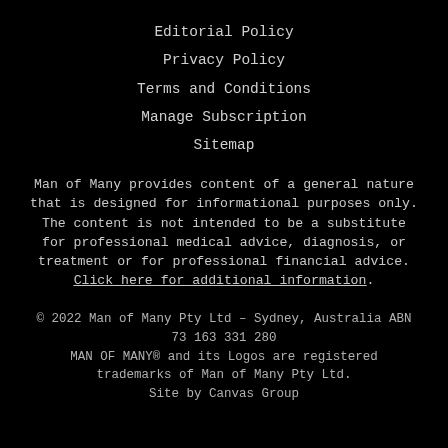Editorial Policy
Privacy Policy
Terms and Conditions
Manage Subscription
Sitemap
Man of Many provides content of a general nature that is designed for informational purposes only. The content is not intended to be a substitute for professional medical advice, diagnosis, or treatment or for professional financial advice. Click here for additional information.
© 2022 Man of Many Pty Ltd – Sydney, Australia ABN 73 163 331 280
MAN OF MANY® and its Logos are registered trademarks of Man of Many Pty Ltd.
Site by Canvas Group